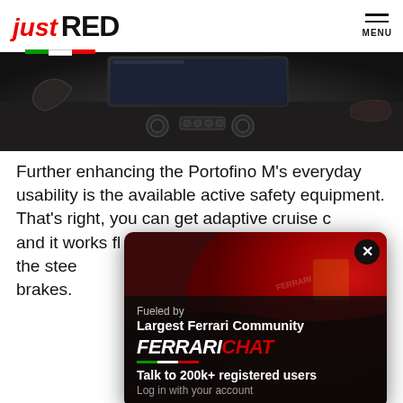just RED | MENU
[Figure (photo): Interior dashboard view of a Ferrari Portofino M, showing infotainment screen and center console controls in dark lighting]
Further enhancing the Portofino M's everyday usability is the available active safety equipment. That's right, you can get adaptive cruise c... and it works fl... and speed i... eft of the stee... se down to... g the brakes. ... mera with pa... exceptionally useful on the tight roads of K...
[Figure (advertisement): Ferrari Chat popup overlay: Fueled by [Ferrari photo background]. Largest Ferrari Community. FERRARICHAT. Talk to 200k+ registered users. Log in with your account. Close (X) button.]